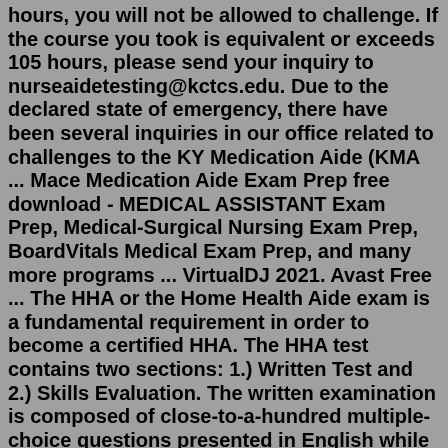hours, you will not be allowed to challenge. If the course you took is equivalent or exceeds 105 hours, please send your inquiry to nurseaidetesting@kctcs.edu. Due to the declared state of emergency, there have been several inquiries in our office related to challenges to the KY Medication Aide (KMA ... Mace Medication Aide Exam Prep free download - MEDICAL ASSISTANT Exam Prep, Medical-Surgical Nursing Exam Prep, BoardVitals Medical Exam Prep, and many more programs ... VirtualDJ 2021. Avast Free ... The HHA or the Home Health Aide exam is a fundamental requirement in order to become a certified HHA. The HHA test contains two sections: 1.) Written Test and 2.) Skills Evaluation. The written examination is composed of close-to-a-hundred multiple-choice questions presented in English while the Skills Evaluation is focused on hands-on assessment.True or False: Good self-care practices by the home care aide include making other people's needs more important. True or False: If the client is doing tasks assigned to the home